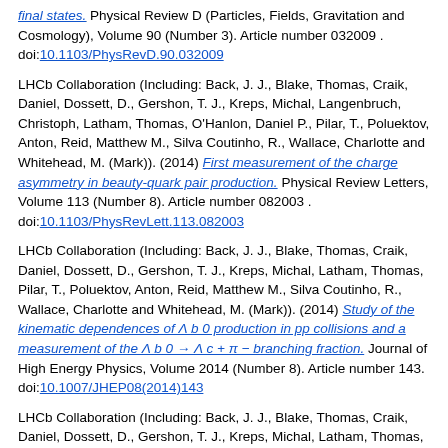final states. Physical Review D (Particles, Fields, Gravitation and Cosmology), Volume 90 (Number 3). Article number 032009 . doi:10.1103/PhysRevD.90.032009
LHCb Collaboration (Including: Back, J. J., Blake, Thomas, Craik, Daniel, Dossett, D., Gershon, T. J., Kreps, Michal, Langenbruch, Christoph, Latham, Thomas, O'Hanlon, Daniel P., Pilar, T., Poluektov, Anton, Reid, Matthew M., Silva Coutinho, R., Wallace, Charlotte and Whitehead, M. (Mark)). (2014) First measurement of the charge asymmetry in beauty-quark pair production. Physical Review Letters, Volume 113 (Number 8). Article number 082003 . doi:10.1103/PhysRevLett.113.082003
LHCb Collaboration (Including: Back, J. J., Blake, Thomas, Craik, Daniel, Dossett, D., Gershon, T. J., Kreps, Michal, Latham, Thomas, Pilar, T., Poluektov, Anton, Reid, Matthew M., Silva Coutinho, R., Wallace, Charlotte and Whitehead, M. (Mark)). (2014) Study of the kinematic dependences of Λ b 0 production in pp collisions and a measurement of the Λ b 0 → Λ c + π − branching fraction. Journal of High Energy Physics, Volume 2014 (Number 8). Article number 143. doi:10.1007/JHEP08(2014)143
LHCb Collaboration (Including: Back, J. J., Blake, Thomas, Craik, Daniel, Dossett, D., Gershon, T. J., Kreps, Michal, Latham, Thomas, O'Hanlon, D. P., Pilar, T., Poluektov, Anton, Reid, Matthew M., Silva Coutinho, R., Wallace, Charlotte and Whitehead, M. (Mark)). (2014) Precision measurement of the